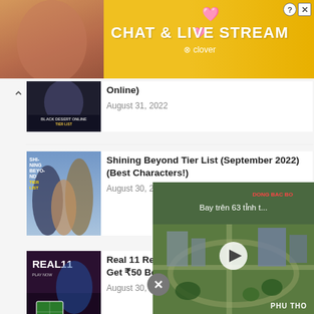[Figure (screenshot): Advertisement banner for 'Chat & Live Stream' by Clover app, yellow/orange background with woman figure and heart emojis]
Online)
August 31, 2022
Shining Beyond Tier List (September 2022) (Best Characters!)
August 30, 2022
Real 11 Referral Code (September 2022) – Get ₹50 Bonus
August 30, 2022
Clash Royale … Cards!)
August 3…
[Figure (screenshot): Video overlay showing aerial view of city, titled 'Bay trên 63 tỉnh t...' with play button, labeled 'DONG BAC BO' top right and 'PHU THO' bottom right]